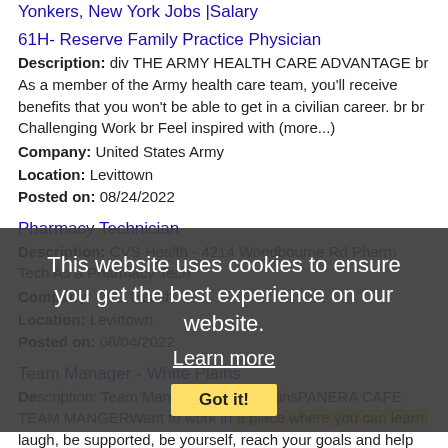Yonkers, New York Jobs |Salary
61H- Reserve Family Practice Physician
Description: div THE ARMY HEALTH CARE ADVANTAGE br As a member of the Army health care team, you'll receive benefits that you won't be able to get in a civilian career. br br Challenging Work br Feel inspired with (more...)
Company: United States Army
Location: Levittown
Posted on: 08/24/2022
Pharmacy Technician
Description: CVS Health - 4214 Woodbourne Rd Pharm Tech As a Pharmacy Tech
Company: CVS Health
Location: Levittown
Posted on: 08/04/2022
Team Manager - White Plains
Description: Team Manager - White PlainsPANERA CAFE TEAM MANGERWant to work in a place where you can learn, laugh, be supported, be yourself, reach your goals and help others do the same If so, then Panera is for (more...)
Company: Panera Bread
This website uses cookies to ensure you get the best experience on our website.
Learn more
Got it!